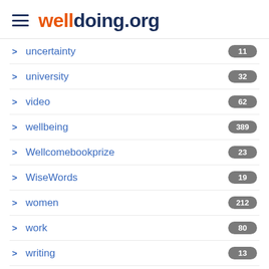welldoing.org
uncertainty
university
video
wellbeing
Wellcomebookprize
WiseWords
women
work
writing
yoga